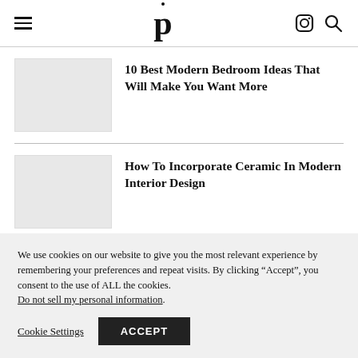P (logo with hamburger menu and icons)
10 Best Modern Bedroom Ideas That Will Make You Want More
How To Incorporate Ceramic In Modern Interior Design
We use cookies on our website to give you the most relevant experience by remembering your preferences and repeat visits. By clicking “Accept”, you consent to the use of ALL the cookies. Do not sell my personal information. Cookie Settings ACCEPT